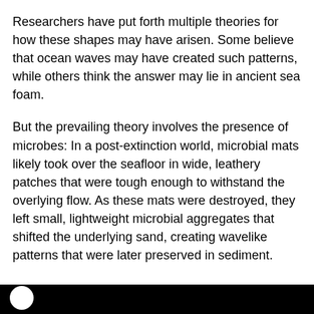Researchers have put forth multiple theories for how these shapes may have arisen. Some believe that ocean waves may have created such patterns, while others think the answer may lie in ancient sea foam.
But the prevailing theory involves the presence of microbes: In a post-extinction world, microbial mats likely took over the seafloor in wide, leathery patches that were tough enough to withstand the overlying flow. As these mats were destroyed, they left small, lightweight microbial aggregates that shifted the underlying sand, creating wavelike patterns that were later preserved in sediment.
[Figure (photo): Black bar at bottom of page with partial white circular element visible at lower left]